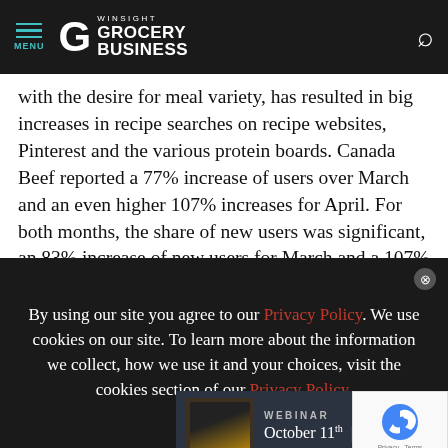MENU | WINSIGHT GROCERY BUSINESS
with the desire for meal variety, has resulted in big increases in recipe searches on recipe websites, Pinterest and the various protein boards. Canada Beef reported a 77% increase of users over March and an even higher 107% increases for April. For both months, the share of new users was significant, an 83% increase of new users for March and a 107% increase for April.
[Figure (screenshot): Advertisement banner: WEBINAR October 11th | 11AM CST ALTO-SHAAM with close button]
Accordi... highest activity, with many new cooks looking for
By using our site you agree to our Privacy Policy. We use cookies on our site. To learn more about the information we collect, how we use it and your choices, visit the cookies section of our Privacy Policy.